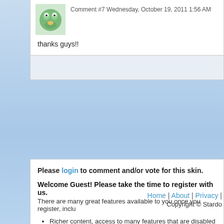Comment #7 Wednesday, October 19, 2011 1:56 AM
thanks guys!!
Please login to comment and/or vote for this skin.
Welcome Guest! Please take the time to register with us.
There are many great features available to you once you register, inclu
Richer content, access to many features that are disabled for gue... downloading files.
Access to a great community, with a massive database of many, m
Access to contests & subscription offers like exclusive emails.
It's simple, and FREE!
Home | About | Privacy | Copyright © Stardo